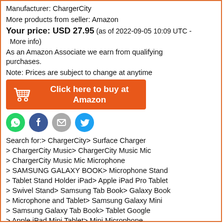Manufacturer: ChargerCity
More products from seller: Amazon
Your price: USD 27.95 (as of 2022-09-05 10:09 UTC - More info)
As an Amazon Associate we earn from qualifying purchases.
Note: Prices are subject to change at anytime
[Figure (illustration): Orange button with cart icon: Click here to buy at Amazon]
[Figure (illustration): Social share icons: WhatsApp (green), Facebook (blue), Email (grey), Twitter (cyan)]
Search for:> ChargerCity> Surface Charger
> ChargerCity Music> ChargerCity Music Mic
> ChargerCity Music Mic Microphone
> SAMSUNG GALAXY BOOK> Microphone Stand
> Tablet Stand Holder iPad> Apple iPad Pro Tablet
> Swivel Stand> Samsung Tab Book> Galaxy Book
> Microphone and Tablet> Samsung Galaxy Mini
> Samsung Galaxy Tab Book> Tablet Google
> Apple iPad Mini Tablet> Mini Microphone
> ChargerCity Swivel> ChargerCity Swivel Adjust
> Surface Charger Charger> Surface Pro Pro Charger